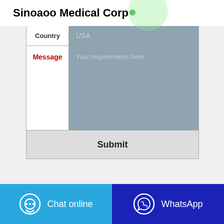Sinoaoo Medical Corp
| Field | Value |
| --- | --- |
| Country | USA |
| Message | Your requirements here. |
|  | Submit |
[Figure (screenshot): Chat online button with speech bubble icon]
[Figure (screenshot): WhatsApp button with WhatsApp icon]